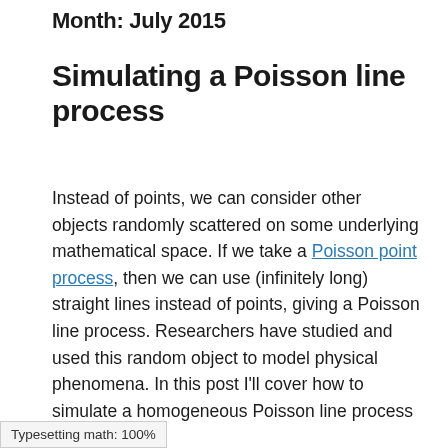Month: July 2015
Simulating a Poisson line process
Instead of points, we can consider other objects randomly scattered on some underlying mathematical space. If we take a Poisson point process, then we can use (infinitely long) straight lines instead of points, giving a Poisson line process. Researchers have studied and used this random object to model physical phenomena. In this post I'll cover how to simulate a homogeneous Poisson line process [and Python. The code can be
Typesetting math: 100%